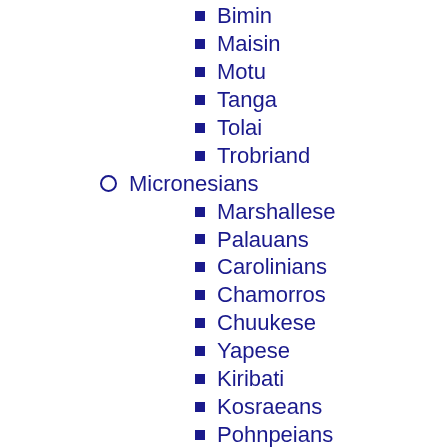Bimin
Maisin
Motu
Tanga
Tolai
Trobriand
Micronesians
Marshallese
Palauans
Carolinians
Chamorros
Chuukese
Yapese
Kiribati
Kosraeans
Pohnpeians
Nauruans
Papuan-speaking peoples
Papua New Guinea region
Abelam
Angu